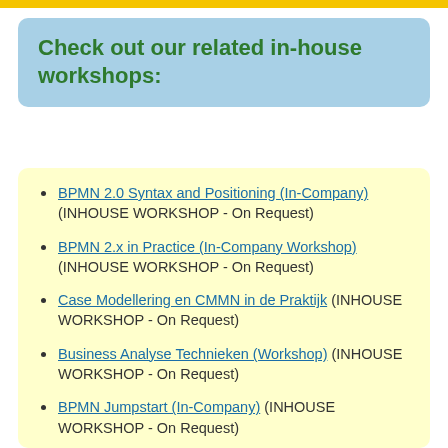Check out our related in-house workshops:
BPMN 2.0 Syntax and Positioning (In-Company) (INHOUSE WORKSHOP - On Request)
BPMN 2.x in Practice (In-Company Workshop) (INHOUSE WORKSHOP - On Request)
Case Modellering en CMMN in de Praktijk (INHOUSE WORKSHOP - On Request)
Business Analyse Technieken (Workshop) (INHOUSE WORKSHOP - On Request)
BPMN Jumpstart (In-Company) (INHOUSE WORKSHOP - On Request)